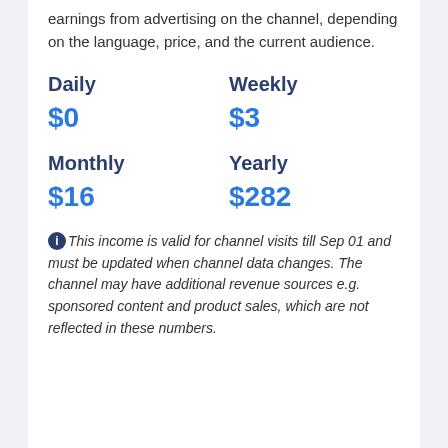earnings from advertising on the channel, depending on the language, price, and the current audience.
| Daily | Weekly | Monthly | Yearly |
| --- | --- | --- | --- |
| $0 | $3 | $16 | $282 |
This income is valid for channel visits till Sep 01 and must be updated when channel data changes. The channel may have additional revenue sources e.g. sponsored content and product sales, which are not reflected in these numbers.